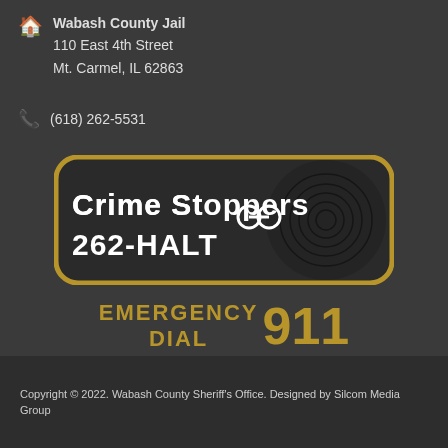Wabash County Jail
110 East 4th Street
Mt. Carmel, IL 62863
(618) 262-5531
[Figure (logo): Crime Stoppers 262-HALT badge with dark rounded rectangle border in gold, white bold text, handcuffs graphic, and fingerprint background]
[Figure (infographic): Emergency Dial 911 text in gold/dark gold bold uppercase letters]
Copyright © 2022. Wabash County Sheriff's Office. Designed by Silcom Media Group